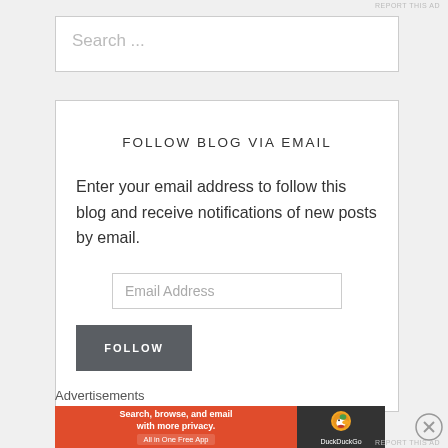REPORT THIS AD
Search ...
FOLLOW BLOG VIA EMAIL
Enter your email address to follow this blog and receive notifications of new posts by email.
Email Address
FOLLOW
Advertisements
[Figure (other): DuckDuckGo advertisement banner: 'Search, browse, and email with more privacy. All in One Free App' with DuckDuckGo logo on dark background]
REPORT THIS AD